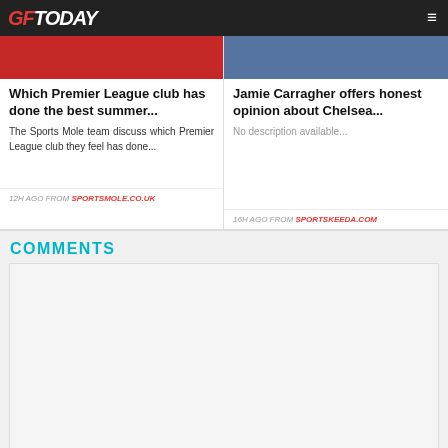GFToday
Which Premier League club has done the best summer...
The Sports Mole team discuss which Premier League club they feel has done...
12H AGO FROM SPORTSMOLE.CO.UK
Jamie Carragher offers honest opinion about Chelsea...
No description available...
16H AGO FROM SPORTSKEEDA.COM
COMMENTS